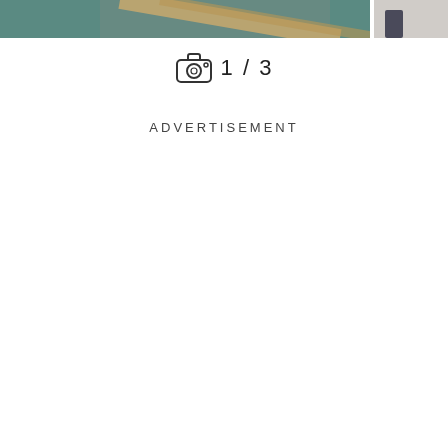[Figure (photo): Partial view of an interior scene showing teal/green upholstery and wooden furniture elements, cropped at the top of the page. A second partial photo is visible at the top right corner.]
1 / 3
ADVERTISEMENT